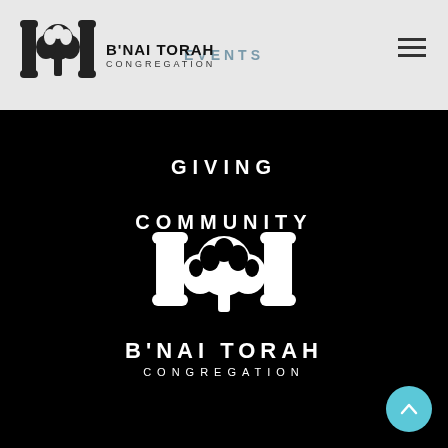[Figure (logo): B'Nai Torah Congregation logo with Torah scrolls and tree, small version in header]
EVENTS
GIVING
COMMUNITY
DONATE
[Figure (logo): B'Nai Torah Congregation large white logo with Torah scrolls and tree on black background]
B'NAI TORAH CONGREGATION